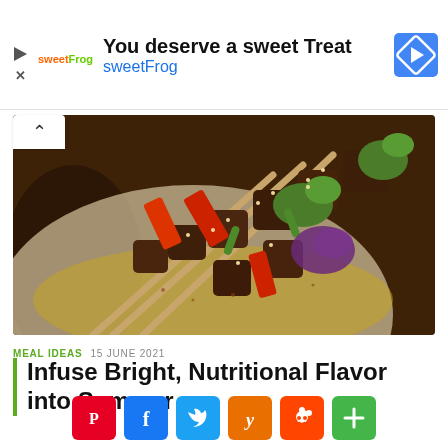[Figure (infographic): SweetFrog advertisement banner with logo, headline 'You deserve a sweet Treat', subtext 'sweetFrog', and a diamond-shaped directional icon]
[Figure (photo): Close-up photo of grilled meat and vegetable skewers (kebabs) on a plate, with red peppers, broccoli, red onion, and wooden skewers, garnished with sesame seeds on a wooden board]
MEAL IDEAS  15 JUNE 2021
Infuse Bright, Nutritional Flavor into Summer
[Figure (infographic): Row of social share buttons: Pinterest (red), Facebook (blue), Twitter (light blue), Yummly (orange), Reddit (orange-red), More/Plus (green)]